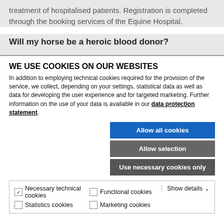treatment of hospitalised patients. Registration is completed through the booking services of the Equine Hospital.
Will my horse be a heroic blood donor?
WE USE COOKIES ON OUR WEBSITES
In addition to employing technical cookies required for the provision of the service, we collect, depending on your settings, statistical data as well as data for developing the user experience and for targeted marketing. Further information on the use of your data is available in our data protection statement.
Allow all cookies
Allow selection
Use necessary cookies only
Necessary technical cookies | Functional cookies | Statistics cookies | Marketing cookies | Show details